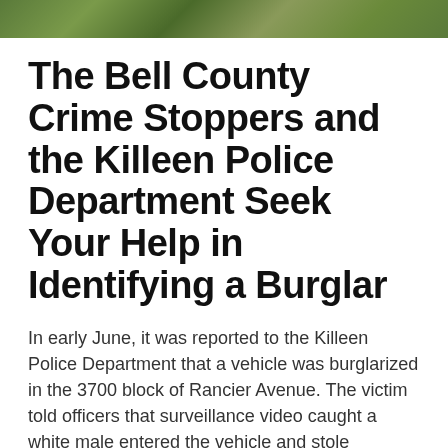[Figure (photo): A strip of foliage/greenery photo at the top of the page]
The Bell County Crime Stoppers and the Killeen Police Department Seek Your Help in Identifying a Burglar
In early June, it was reported to the Killeen Police Department that a vehicle was burglarized in the 3700 block of Rancier Avenue. The victim told officers that surveillance video caught a white male entered the vehicle and stole property to…
August 19, 2021